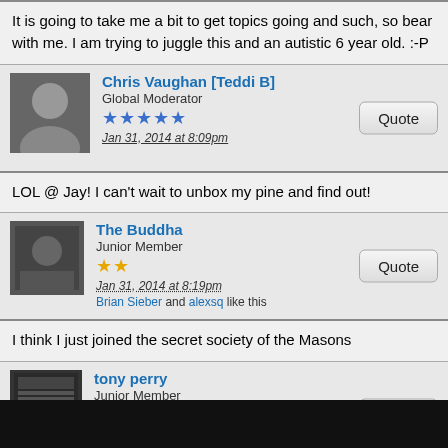It is going to take me a bit to get topics going and such, so bear with me. I am trying to juggle this and an autistic 6 year old. :-P
Chris Vaughan [Teddi B] — Global Moderator — Jan 31, 2014 at 8:09pm
LOL @ Jay! I can't wait to unbox my pine and find out!
The Buddha — Junior Member — Jan 31, 2014 at 8:19pm — Brian Sieber and alexsq like this
I think I just joined the secret society of the Masons
tony perry — Junior Member — Jan 31, 2014 at 8:20pm